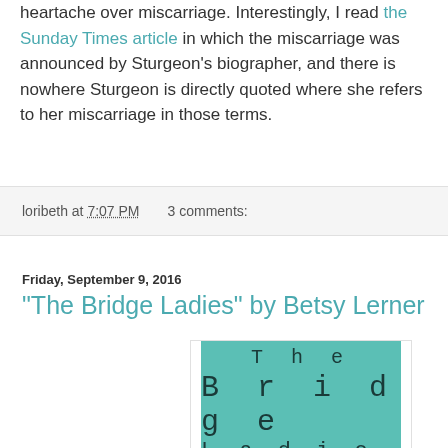heartache over miscarriage. Interestingly, I read the Sunday Times article in which the miscarriage was announced by Sturgeon's biographer, and there is nowhere Sturgeon is directly quoted where she refers to her miscarriage in those terms.
loribeth at 7:07 PM   3 comments:
Friday, September 9, 2016
"The Bridge Ladies" by Betsy Lerner
[Figure (illustration): Book cover of 'The Bridge Ladies' by Betsy Lerner. Teal/mint green background with typewriter-style text showing 'The' in spaced letters, 'Bridge' in large spaced letters, and partially visible 'Ladies' at the bottom.]